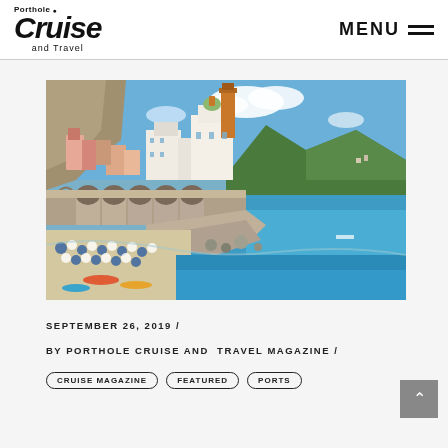Porthole Cruise and Travel — MENU
[Figure (photo): Aerial view of Amalfi Coast village with colorful buildings built into rocky cliffs, a church with orange dome and campanile, stone arched viaduct along the seafront, beach with blue and white umbrellas, and turquoise Mediterranean sea with green mountains in background]
SEPTEMBER 26, 2019 /
BY PORTHOLE CRUISE AND TRAVEL MAGAZINE /
CRUISE MAGAZINE   FEATURED   PORTS